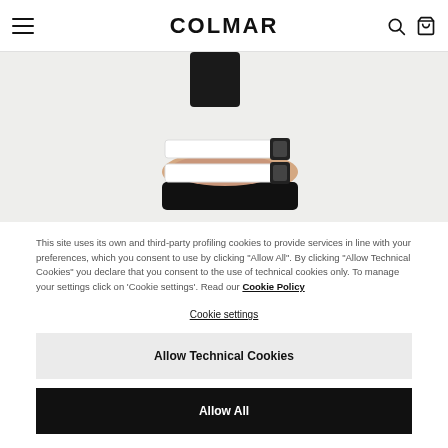COLMAR
[Figure (photo): Close-up photo of a person's foot wearing a white and black platform sandal with two buckle straps, on a light grey background.]
This site uses its own and third-party profiling cookies to provide services in line with your preferences, which you consent to use by clicking "Allow All". By clicking "Allow Technical Cookies" you declare that you consent to the use of technical cookies only. To manage your settings click on 'Cookie settings'. Read our Cookie Policy
Cookie settings
Allow Technical Cookies
Allow All